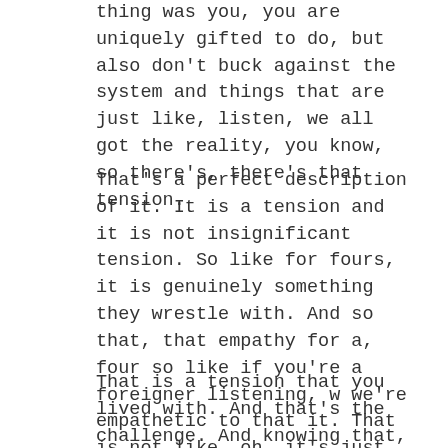thing was you, you are uniquely gifted to do, but also don't buck against the system and things that are just like, listen, we all got the reality, you know, so there's, there's that tension.
That's a perfect description of it. It is a tension and it is not insignificant tension. So like for fours, it is genuinely something they wrestle with. And so that, that empathy for a, four so like if you're a foreigner listening, w we're empathetic to that it. That is not like, oh, it's just attention. You got to get over it.
That is a tension that you lived with. And that's the challenge. And knowing that, and kind of the reframe as an Enneagram seven, the reframe that I've helped fours with is I can get my unique position out if I do it the way other people can hear